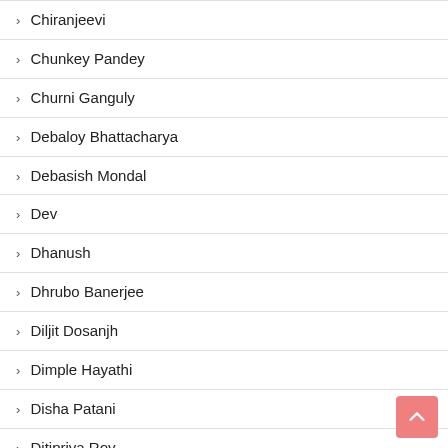› Chiranjeevi
› Chunkey Pandey
› Churni Ganguly
› Debaloy Bhattacharya
› Debasish Mondal
› Dev
› Dhanush
› Dhrubo Banerjee
› Diljit Dosanjh
› Dimple Hayathi
› Disha Patani
› Ditipriya Roy
› Divyansha Kaushik
› Dulquer Salmaan
› Emraan Hashmi